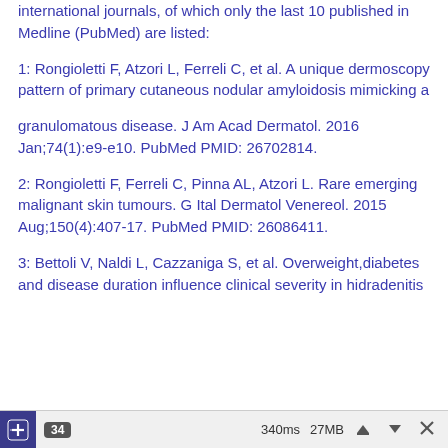international journals, of which only the last 10 published in Medline (PubMed) are listed:
1: Rongioletti F, Atzori L, Ferreli C, et al. A unique dermoscopy pattern of primary cutaneous nodular amyloidosis mimicking a granulomatous disease. J Am Acad Dermatol. 2016 Jan;74(1):e9-e10. PubMed PMID: 26702814.
2: Rongioletti F, Ferreli C, Pinna AL, Atzori L. Rare emerging malignant skin tumours. G Ital Dermatol Venereol. 2015 Aug;150(4):407-17. PubMed PMID: 26086411.
3: Bettoli V, Naldi L, Cazzaniga S, et al. Overweight,diabetes and disease duration influence clinical severity in hidradenitis
34   340ms   27MB